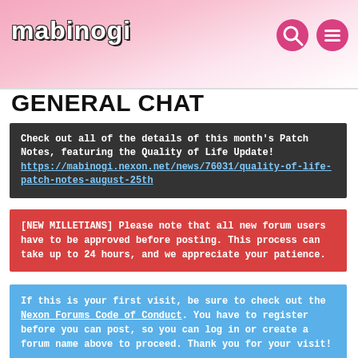mabinogi
GENERAL CHAT
Check out all of the details of this month's Patch Notes, featuring the Quality of Life Update! https://mabinogi.nexon.net/news/76031/quality-of-life-patch-notes-august-25th
[NEW MILLETIANS] Please note that all new forum users have to be approved before posting. This process can take up to 24 hours, and we appreciate your patience.
If this is your first visit, be sure to check out the Nexon Forums Code of Conduct. You have to register before you can post, so you can log in or create a forum name above to proceed. Thank you for your visit!
Confirmed ; G21 this winter (kr)
Member